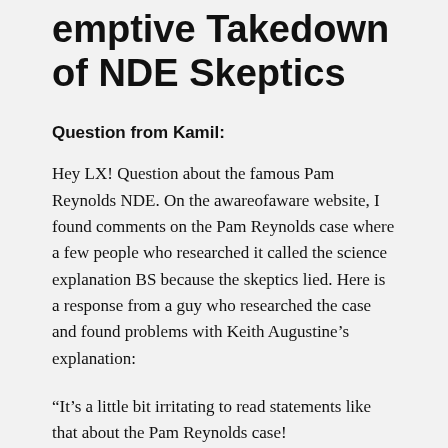emptive Takedown of NDE Skeptics
Question from Kamil:
Hey LX! Question about the famous Pam Reynolds NDE. On the awareofaware website, I found comments on the Pam Reynolds case where a few people who researched it called the science explanation BS because the skeptics lied. Here is a response from a guy who researched the case and found problems with Keith Augustine’s explanation:
“It’s a little bit irritating to read statements like that about the Pam Reynolds case!